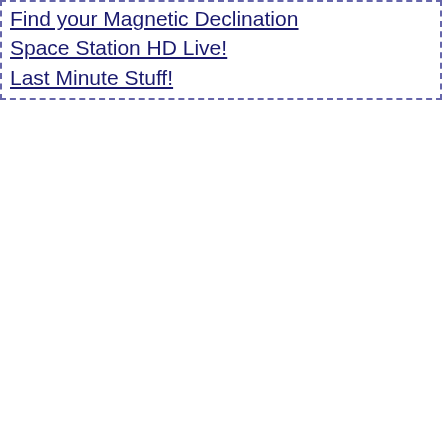Find your Magnetic Declination
Space Station HD Live!
Last Minute Stuff!